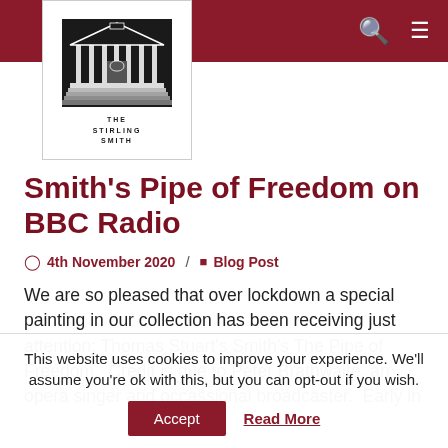The Stirling Smith — navigation header with logo, search icon, and menu icon
Smith’s Pipe of Freedom on BBC Radio
4th November 2020 / Blog Post
We are so pleased that over lockdown a special painting in our collection has been receiving just attention: Thomas Stuart’s Smith’s The Pipe of Freedom.  Credit is due to Peter Brathwaite, an opera singer and occassional broadcaster.  Early in
This website uses cookies to improve your experience. We’ll assume you’re ok with this, but you can opt-out if you wish.